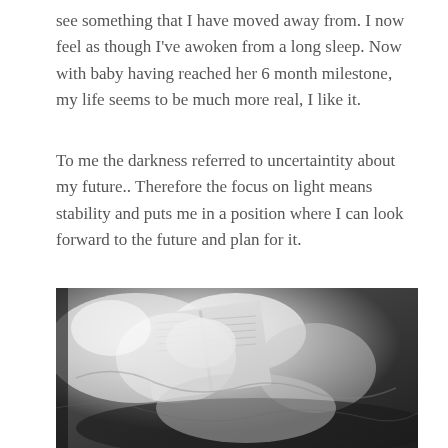see something that I have moved away from. I now feel as though I've awoken from a long sleep. Now with baby having reached her 6 month milestone, my life seems to be much more real, I like it.
To me the darkness referred to uncertaintity about my future.. Therefore the focus on light means stability and puts me in a position where I can look forward to the future and plan for it.
[Figure (photo): Black and white photograph of an open book lying among rumpled white fabric/bedsheets, with bright light illuminating the scene creating high contrast between light and shadow areas.]